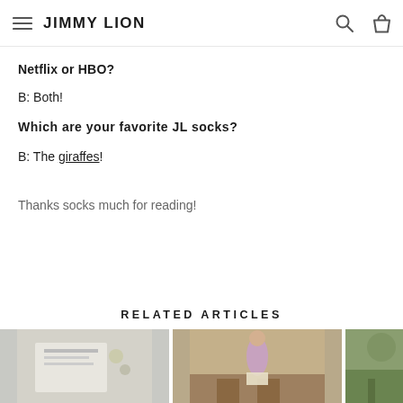JIMMY LION
Netflix or HBO?
B: Both!
Which are your favorite JL socks?
B: The giraffes!
Thanks socks much for reading!
RELATED ARTICLES
[Figure (photo): Three article thumbnail images showing desk items, a person sitting on wood, and an outdoor scene]